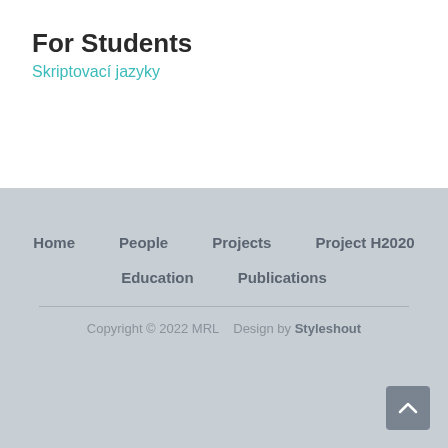For Students
Skriptovací jazyky
Home   People   Projects   Project H2020   Education   Publications
Copyright © 2022 MRL   Design by Styleshout